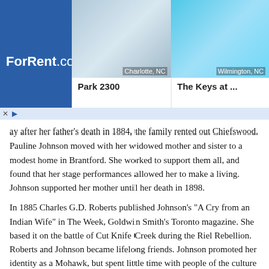[Figure (screenshot): ForRent.com advertisement banner showing two property listings: Park 2300 in Charlotte, NC and The Keys at ... in Wilmington, NC, with property photos and a blue background.]
ay after her father's death in 1884, the family rented out Chiefswood. Pauline Johnson moved with her widowed mother and sister to a modest home in Brantford. She worked to support them all, and found that her stage performances allowed her to make a living. Johnson supported her mother until her death in 1898.
In 1885 Charles G.D. Roberts published Johnson's "A Cry from an Indian Wife" in The Week, Goldwin Smith's Toronto magazine. She based it on the battle of Cut Knife Creek during the Riel Rebellion. Roberts and Johnson became lifelong friends. Johnson promoted her identity as a Mohawk, but spent little time with people of the culture as an adult. In 1885, Johnson traveled to Buffalo, New York to attend a ceremony honoring the Iroquois leader Sagoyewatha, also known as Red Jacket. She wrote a poem expressing admiration for him and a plea for reconciliation between British and Native peoples (Gray 2002, p. 90).
In 1886 Johnson was commissioned to write a poem to mark the unveiling in Brantford of a statue honoring Joseph Brant, the important Mohawk leader during and after the American Revolutionary War. Her "Ode to Brant" was read at an 13 October ceremony before "the largest crowd the little city had ever seen." It called for brotherhood between Native and white Canadians under British imperial authority (Gray 2002, p. 90). The poem sparked a